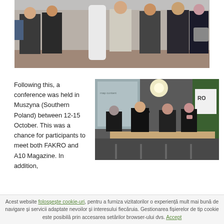[Figure (photo): Group of people standing outside a building posing for a photo]
Following this, a conference was held in Muszyna (Southern Poland) between 12-15 October. This was a chance for participants to meet both FAKRO and A10 Magazine. In addition,
[Figure (photo): Conference panel with four people seated at a table, a projection screen and FAKRO banner visible behind them]
Acest website foloseste cookie-uri, pentru a furniza vizitatorilor o experienta mult mai buna de navigare si servicii adaptate nevoilor si interesului fiecaruia. Gestionarea fisierelor de tip cookie este posibila prin accesarea setarilor browser-ului dvs. Accept